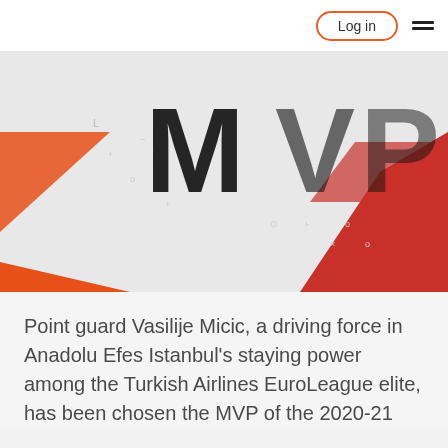Log in
[Figure (photo): Basketball player Vasilije Micic wearing Anadolu Efes Istanbul jersey number 22, dribbling a basketball. Orange and red geometric shapes in the background. Large black MVP letters partially visible. Decorative symbols scattered in background.]
Point guard Vasilije Micic, a driving force in Anadolu Efes Istanbul's staying power among the Turkish Airlines EuroLeague elite, has been chosen the MVP of the 2020-21